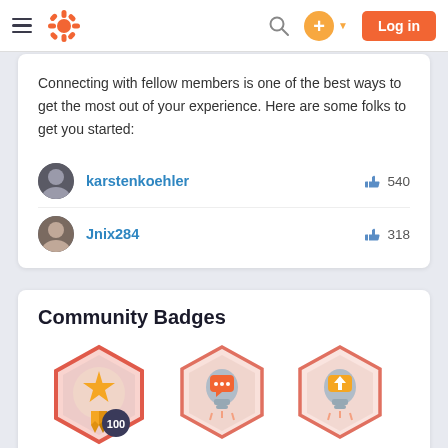HubSpot Community navigation bar with hamburger menu, logo, search, plus button, and Log in button
Connecting with fellow members is one of the best ways to get the most out of your experience. Here are some folks to get you started:
karstenkoehler  540
Jnix284  318
Community Badges
[Figure (illustration): Three hexagonal community badge icons: a gold star/ribbon badge with '100' label, a chat/lightbulb badge, and an upload/lightbulb badge]